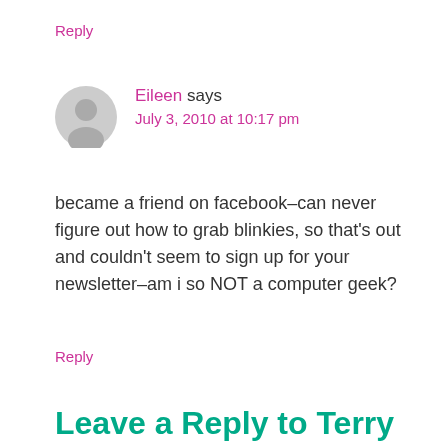Reply
Eileen says
July 3, 2010 at 10:17 pm
became a friend on facebook–can never figure out how to grab blinkies, so that's out and couldn't seem to sign up for your newsletter–am i so NOT a computer geek?
Reply
Leave a Reply to Terry Aske Cancel reply